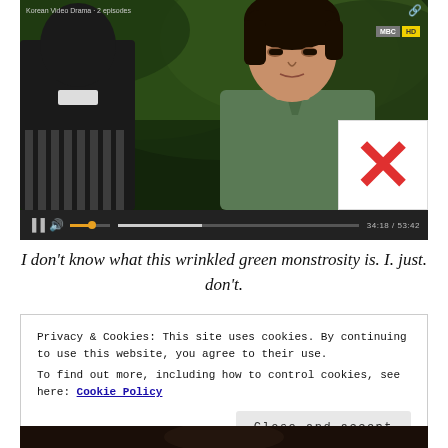[Figure (screenshot): Video player showing a Korean drama scene. Two figures: one with back turned in dark suit on left, one young man in green shirt facing camera on right. Green leafy background. Video controls bar at bottom with play/pause, volume, progress bar and timestamp. A white overlay box with large red X appears at bottom right. Small logo badge at top right. Link icon at top right corner.]
I don't know what this wrinkled green monstrosity is. I. just. don't.
Privacy & Cookies: This site uses cookies. By continuing to use this website, you agree to their use.
To find out more, including how to control cookies, see here: Cookie Policy